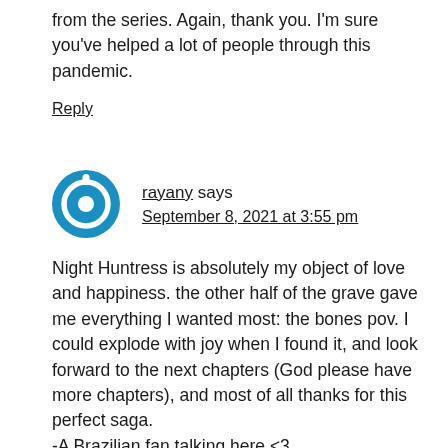from the series. Again, thank you. I'm sure you've helped a lot of people through this pandemic.
Reply
rayany says September 8, 2021 at 3:55 pm
Night Huntress is absolutely my object of love and happiness. the other half of the grave gave me everything I wanted most: the bones pov. I could explode with joy when I found it, and look forward to the next chapters (God please have more chapters), and most of all thanks for this perfect saga.
-A Brazilian fan talking here <3
Reply